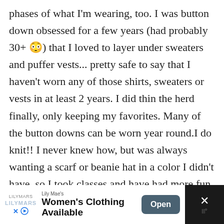phases of what I'm wearing, too. I was button down obsessed for a few years (had probably 30+ 😳) that I loved to layer under sweaters and puffer vests... pretty safe to say that I haven't worn any of those shirts, sweaters or vests in at least 2 years. I did thin the herd finally, only keeping my favorites. Many of the button downs can be worn year round.I do knit!! I never knew how, but was always wanting a scarf or beanie hat in a color I didn't have, so I took classes and have had more fun learning than I'd have ever guessed! Pick it back up, I bet it will come back to you!I love the mixture of outfits you post. While I wear mostly casual outfits, I love the
[Figure (screenshot): Advertisement banner for Lily Mae's Women's Clothing Available with Open button and close X]